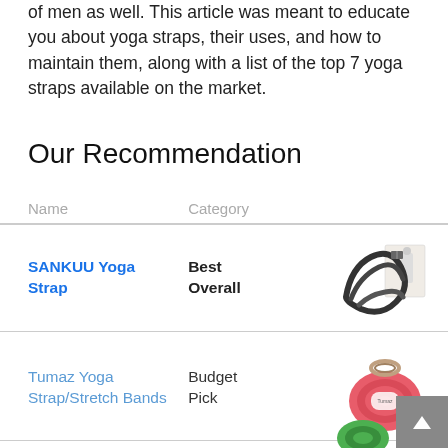of men as well. This article was meant to educate you about yoga straps, their uses, and how to maintain them, along with a list of the top 7 yoga straps available on the market.
Our Recommendation
| Name | Category |  |
| --- | --- | --- |
| SANKUU Yoga Strap | Best Overall | [product image] |
| Tumaz Yoga Strap/Stretch Bands | Budget Pick | [product image] |